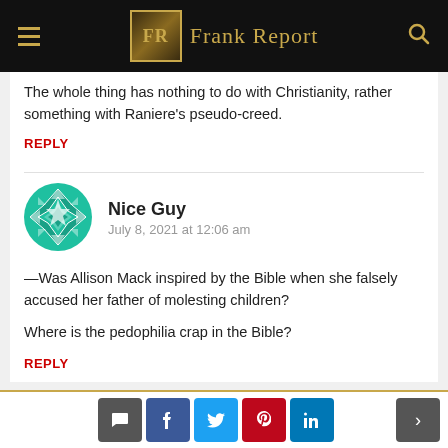Frank Report
The whole thing has nothing to do with Christianity, rather something with Raniere's pseudo-creed.
REPLY
Nice Guy
July 8, 2021 at 12:06 am
—Was Allison Mack inspired by the Bible when she falsely accused her father of molesting children?

Where is the pedophilia crap in the Bible?
REPLY
Social share buttons and navigation